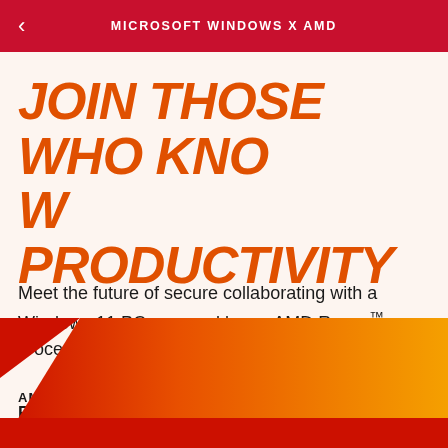MICROSOFT WINDOWS X AMD
JOIN THOSE WHO KNOW PRODUCTIVITY
Meet the future of secure collaborating with a Windows 11 PC powered by an AMD Ryzen™ processor.
[Figure (logo): AMD Ryzen logo and Windows 11 logo side by side with a vertical divider]
[Figure (illustration): Orange and red gradient diagonal shape at the bottom of the page]